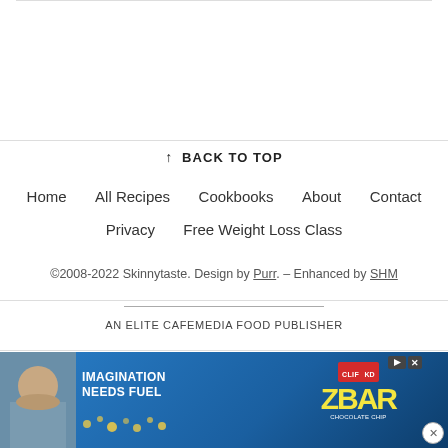↑ BACK TO TOP
Home    All Recipes    Cookbooks    About    Contact
Privacy    Free Weight Loss Class
©2008-2022 Skinnytaste. Design by Purr. – Enhanced by SHM
AN ELITE CAFEMEDIA FOOD PUBLISHER
[Figure (photo): Advertisement banner for CLIF ZBAR showing a child eating a bar and the text 'IMAGINATION NEEDS FUEL' on a blue background with a Z-Bar product image]